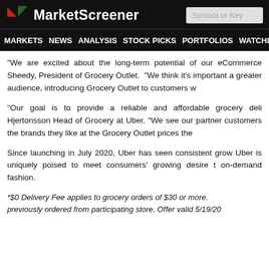MarketScreener | MARKETS NEWS ANALYSIS STOCK PICKS PORTFOLIOS WATCHLI...
"We are excited about the long-term potential of our eCommerce... Sheedy, President of Grocery Outlet. "We think it's important... a greater audience, introducing Grocery Outlet to customers w...
"Our goal is to provide a reliable and affordable grocery deli... Hjertonsson Head of Grocery at Uber. "We see our partner... customers the brands they like at the Grocery Outlet prices the...
Since launching in July 2020, Uber has seen consistent grow... Uber is uniquely poised to meet consumers' growing desire t... on-demand fashion.
*$0 Delivery Fee applies to grocery orders of $30 or more. previously ordered from participating store. Offer valid 5/19/20...